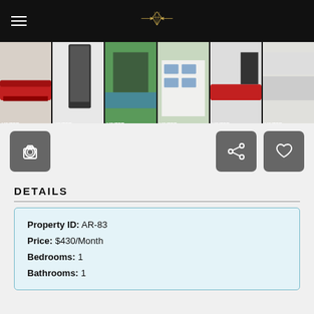Hunter Real Estate — navigation header with logo
[Figure (photo): Strip of 7 property photos showing apartment interiors and exterior with pool]
[Figure (other): Action buttons: camera icon, share icon, heart/favorite icon]
DETAILS
| Property ID: | AR-83 |
| Price: | $430/Month |
| Bedrooms: | 1 |
| Bathrooms: | 1 |